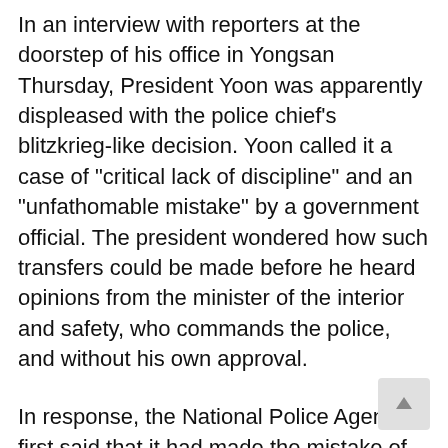In an interview with reporters at the doorstep of his office in Yongsan Thursday, President Yoon was apparently displeased with the police chief's blitzkrieg-like decision. Yoon called it a case of "critical lack of discipline" and an "unfathomable mistake" by a government official. The president wondered how such transfers could be made before he heard opinions from the minister of the interior and safety, who commands the police, and without his own approval.
In response, the National Police Agency first said that it had made the mistake of sending a reshuffle plan, which was not final, to the minister. But later, the agency accused the interior ministry of having submitted a wrong version to the presidential office.